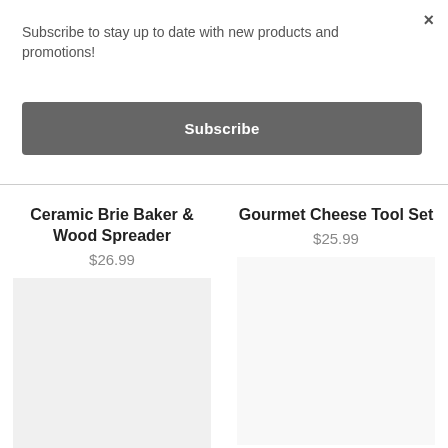Subscribe to stay up to date with new products and promotions!
×
Subscribe
Ceramic Brie Baker & Wood Spreader
$26.99
Gourmet Cheese Tool Set
$25.99
[Figure (other): Light gray placeholder image for product]
[Figure (other): Light gray placeholder image area for second product (partially visible)]